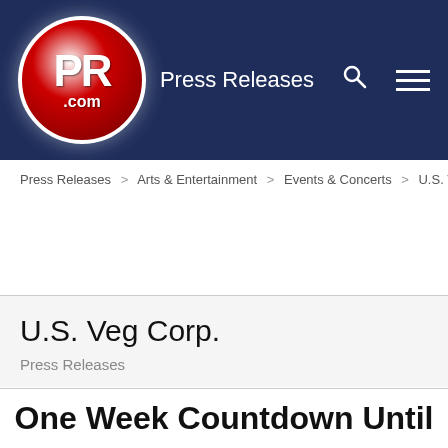PR.com — Press Releases navigation header
Press Releases > Arts & Entertainment > Events & Concerts > U.S. Veg Corp.
U.S. Veg Corp.
Press Releases
One Week Countdown Until